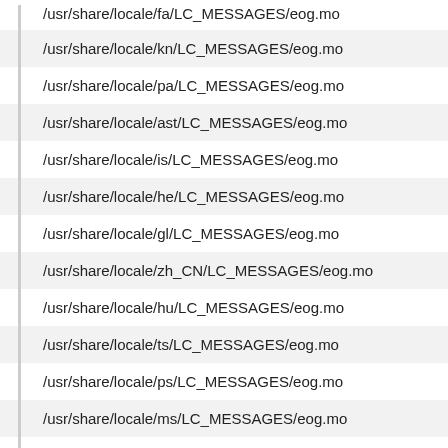/usr/share/locale/fa/LC_MESSAGES/eog.mo
/usr/share/locale/kn/LC_MESSAGES/eog.mo
/usr/share/locale/pa/LC_MESSAGES/eog.mo
/usr/share/locale/ast/LC_MESSAGES/eog.mo
/usr/share/locale/is/LC_MESSAGES/eog.mo
/usr/share/locale/he/LC_MESSAGES/eog.mo
/usr/share/locale/gl/LC_MESSAGES/eog.mo
/usr/share/locale/zh_CN/LC_MESSAGES/eog.mo
/usr/share/locale/hu/LC_MESSAGES/eog.mo
/usr/share/locale/ts/LC_MESSAGES/eog.mo
/usr/share/locale/ps/LC_MESSAGES/eog.mo
/usr/share/locale/ms/LC_MESSAGES/eog.mo
/usr/share/locale/uz@cyrillic/LC_MESSAGES/eog.mo
/usr/share/locale/mai/LC_MESSAGES/eog.mo